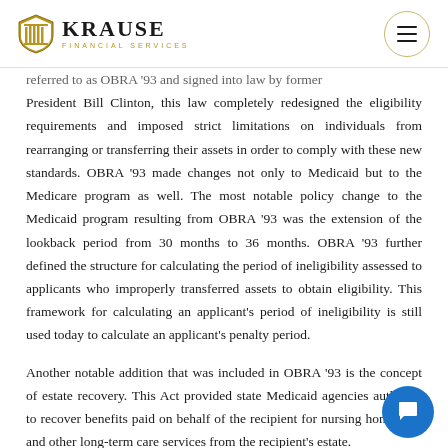Krause Financial Services
referred to as OBRA '93 and signed into law by former President Bill Clinton, this law completely redesigned the eligibility requirements and imposed strict limitations on individuals from rearranging or transferring their assets in order to comply with these new standards. OBRA '93 made changes not only to Medicaid but to the Medicare program as well. The most notable policy change to the Medicaid program resulting from OBRA '93 was the extension of the lookback period from 30 months to 36 months. OBRA '93 further defined the structure for calculating the period of ineligibility assessed to applicants who improperly transferred assets to obtain eligibility. This framework for calculating an applicant's period of ineligibility is still used today to calculate an applicant's penalty period.
Another notable addition that was included in OBRA '93 is the concept of estate recovery. This Act provided state Medicaid agencies authority to recover benefits paid on behalf of the recipient for nursing home care and other long-term care services from the recipient's estate.